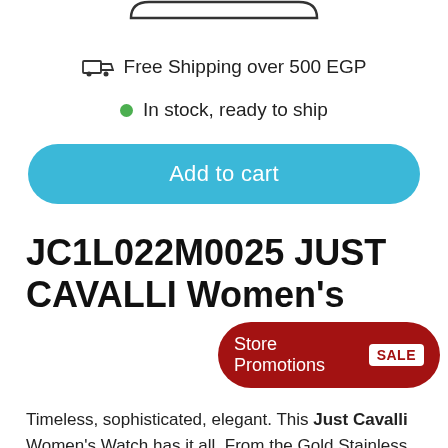[Figure (other): Top portion of a pill/capsule shaped button outline visible at top of page]
Free Shipping over 500 EGP
In stock, ready to ship
Add to cart
JC1L022M0025 JUST CAVALLI Women's
Store Promotions SALE
Timeless, sophisticated, elegant. This Just Cavalli Women's Watch has it all. From the Gold Stainless
MENU
Champagne dial, this watch is the perfect